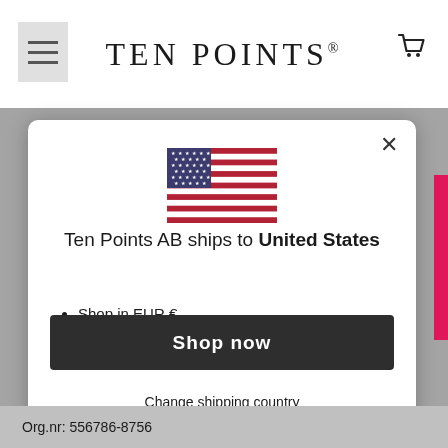TEN POINTS®
[Figure (illustration): US flag emoji/icon]
Ten Points AB ships to United States
Shop in EUR €
Get shipping options for United States
Shop now
Change shipping country
Org.nr: 556786-8756